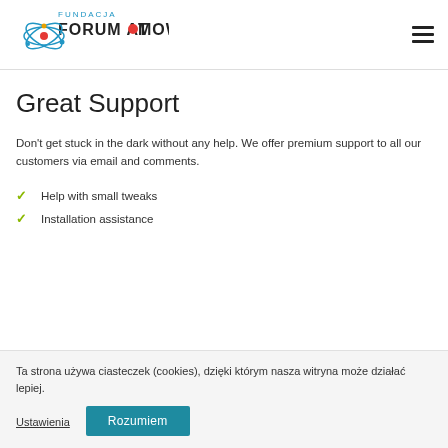FUNDACJA FORUM ATOMOWE
Great Support
Don't get stuck in the dark without any help. We offer premium support to all our customers via email and comments.
Help with small tweaks
Installation assistance
Ta strona używa ciasteczek (cookies), dzięki którym nasza witryna może działać lepiej.
Ustawienia | Rozumiem